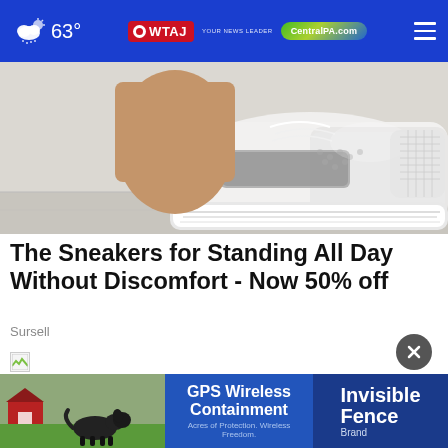63° — WTAJ / CentralPA.com navigation bar
[Figure (photo): Close-up photo of a white and gray knit sneaker being put on a foot, shown from the side on a light wooden floor background.]
The Sneakers for Standing All Day Without Discomfort - Now 50% off
Sursell
[Figure (photo): Broken/unloaded image placeholder (small icon with green arrow shape).]
[Figure (photo): Advertisement banner for Invisible Fence Brand GPS Wireless Containment showing a black dog on a lawn with a red farmhouse. Text reads: GPS Wireless Containment, Acres of Protection. Wireless Freedom. Invisible Fence Brand.]